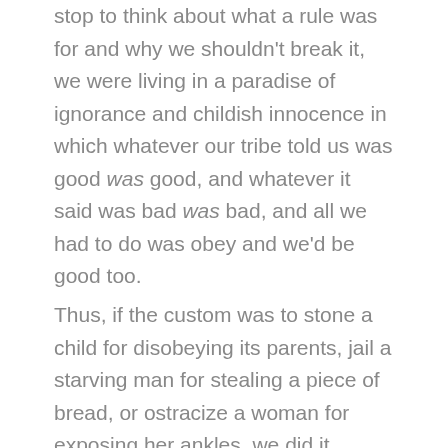stop to think about what a rule was for and why we shouldn't break it, we were living in a paradise of ignorance and childish innocence in which whatever our tribe told us was good was good, and whatever it said was bad was bad, and all we had to do was obey and we'd be good too.
Thus, if the custom was to stone a child for disobeying its parents, jail a starving man for stealing a piece of bread, or ostracize a woman for exposing her ankles, we did it without compunction because we sincerely believed it was the right thing to do. It's the same with parents and kids. Some rules are important